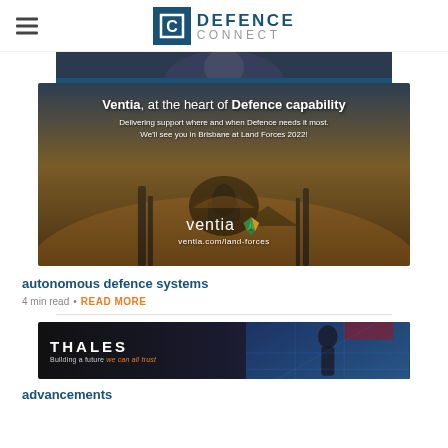DEFENCE CONNECT
[Figure (photo): Partial image of a soldier or military figure, dark tones, cropped at top]
[Figure (infographic): Ventia advertisement banner: 'Ventia, at the heart of Defence capability. Delivering support where and when Defence needs it most. We'll see you in Brisbane at Land Forces 2022! ventia.com/land-forces' — dark background with military silhouette at sunset]
autonomous defence systems
4 min read • READ MORE
[Figure (photo): Thales advertisement banner: 'THALES Building a future we can all trust' with soldier imagery on right side]
advancements